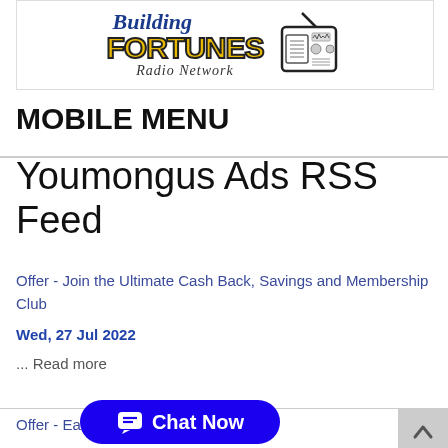[Figure (logo): Building Fortunes Radio Network logo with radio graphic and watermark text IVI NEWS in background]
MOBILE MENU
Youmongus Ads RSS Feed
Offer - Join the Ultimate Cash Back, Savings and Membership Club
Wed, 27 Jul 2022
... Read more
Offer - Earn... home
[Figure (other): Blue Chat Now button with chat bubble icon]